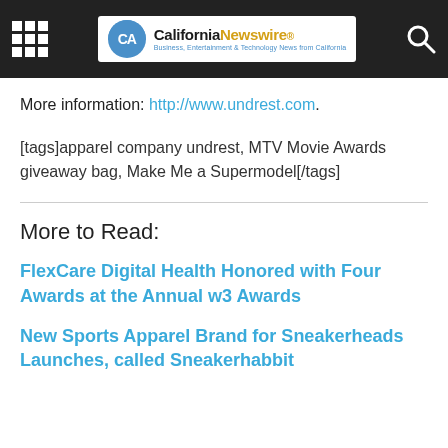California Newswire — Business, Entertainment & Technology News from California
More information: http://www.undrest.com.
[tags]apparel company undrest, MTV Movie Awards giveaway bag, Make Me a Supermodel[/tags]
More to Read:
FlexCare Digital Health Honored with Four Awards at the Annual w3 Awards
New Sports Apparel Brand for Sneakerheads Launches, called Sneakerhabbit